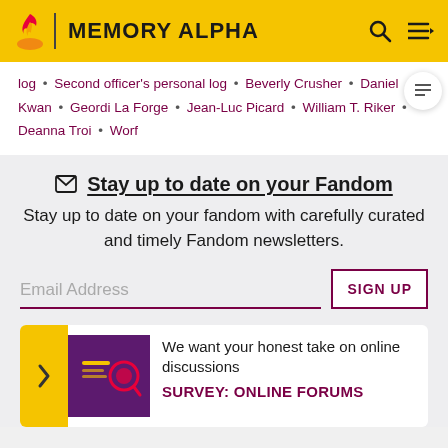MEMORY ALPHA
log • Second officer's personal log • Beverly Crusher • Daniel Kwan • Geordi La Forge • Jean-Luc Picard • William T. Riker • Deanna Troi • Worf
Stay up to date on your Fandom
Stay up to date on your fandom with carefully curated and timely Fandom newsletters.
Email Address
SIGN UP
We want your honest take on online discussions
SURVEY: ONLINE FORUMS